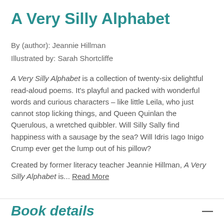A Very Silly Alphabet
By (author): Jeannie Hillman
Illustrated by: Sarah Shortcliffe
A Very Silly Alphabet is a collection of twenty-six delightful read-aloud poems. It's playful and packed with wonderful words and curious characters – like little Leila, who just cannot stop licking things, and Queen Quinlan the Querulous, a wretched quibbler. Will Silly Sally find happiness with a sausage by the sea? Will Idris Iago Inigo Crump ever get the lump out of his pillow?
Created by former literacy teacher Jeannie Hillman, A Very Silly Alphabet is... Read More
Book details